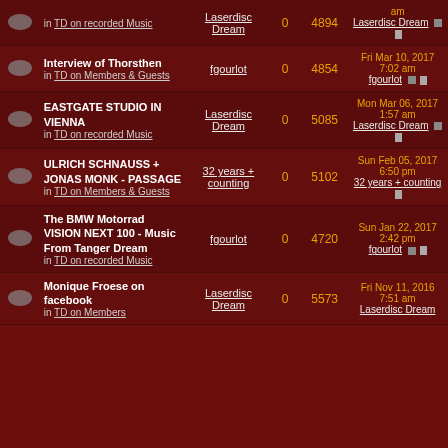|  | Topic | Author | Replies | Views | Last Post |
| --- | --- | --- | --- | --- | --- |
|  | Laserdisc Dream
in TD on recorded Music | Laserdisc Dream | 0 | 4894 | am
Laserdisc Dream |
|  | Interview of Thorsthen
in TD on Members & Guests | fgourlot | 0 | 4854 | Fri Mar 10, 2017 7:02 am
fgourlot |
|  | EASTGATE STUDIO IN VIENNA
in TD on recorded Music | Laserdisc Dream | 0 | 5085 | Mon Mar 06, 2017 1:57 am
Laserdisc Dream |
|  | ULRICH SCHNAUSS + JONAS MONK - PASSAGE
in TD on Members & Guests | 32 years + counting | 0 | 5102 | Sun Feb 05, 2017 6:50 pm
32 years + counting |
|  | The BMW Motorrad VISION NEXT 100 - Music From Tanger Dream
in TD on recorded Music | fgourlot | 0 | 4720 | Sun Jan 22, 2017 2:42 pm
fgourlot |
|  | Monique Froese on facebook
in TD on Members | Laserdisc Dream | 0 | 5573 | Fri Nov 11, 2016 7:51 am
Laserdisc Dream |